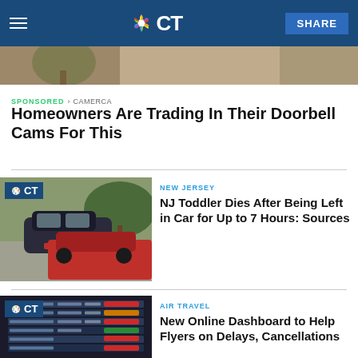NBC CT — SHARE
[Figure (photo): Top image strip showing outdoor scene, partially cropped]
SPONSORED · CAMERCA
Homeowners Are Trading In Their Doorbell Cams For This
[Figure (photo): Cars parked near a tree, NBC CT logo overlay in upper left corner]
NEW JERSEY
NJ Toddler Dies After Being Left in Car for Up to 7 Hours: Sources
[Figure (photo): Airport flight status departure board showing cancelled and delayed flights, NBC CT logo overlay]
AIR TRAVEL
New Online Dashboard to Help Flyers on Delays, Cancellations